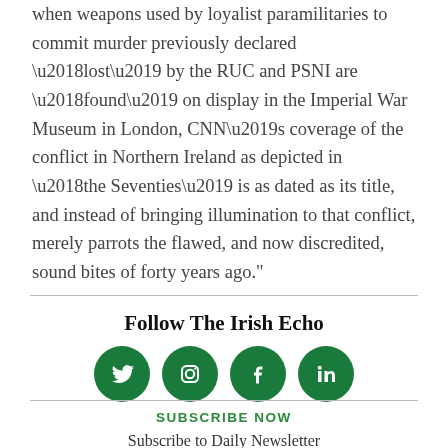when weapons used by loyalist paramilitaries to commit murder previously declared ‘lost’ by the RUC and PSNI are ‘found’ on display in the Imperial War Museum in London, CNN’s coverage of the conflict in Northern Ireland as depicted in ‘the Seventies’ is as dated as its title, and instead of bringing illumination to that conflict, merely parrots the flawed, and now discredited, sound bites of forty years ago.”
Follow The Irish Echo
[Figure (other): Four circular green social media icons: Twitter (bird), Instagram (camera), Facebook (f), LinkedIn (in)]
SUBSCRIBE NOW
Subscribe to Daily Newsletter